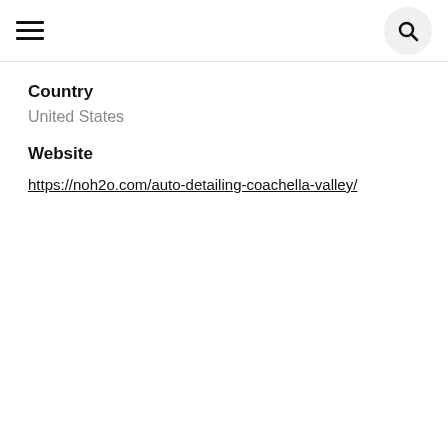≡  🔍
Country
United States
Website
https://noh2o.com/auto-detailing-coachella-valley/